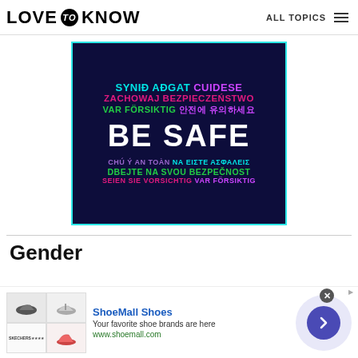LoveToKnow — ALL TOPICS
[Figure (infographic): Dark navy banner with multilingual 'BE SAFE' messages in various colors (cyan, magenta, green, purple, white) in multiple languages including Welsh, Icelandic, Polish, Swedish, Korean, Irish, Greek, Czech, German.]
Gender
[Figure (infographic): Advertisement for ShoeMall Shoes showing shoe product images, text 'ShoeMall Shoes', 'Your favorite shoe brands are here', 'www.shoemall.com', with a close button and navigation arrow.]